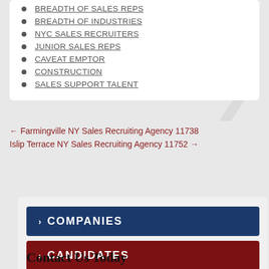BREADTH OF SALES REPS
BREADTH OF INDUSTRIES
NYC SALES RECRUITERS
JUNIOR SALES REPS
CAVEAT EMPTOR
CONSTRUCTION
SALES SUPPORT TALENT
← Farmingville NY Sales Recruiting Agency 11738
Islip Terrace NY Sales Recruiting Agency 11752 →
› COMPANIES
› CANDIDATES
Contact Us Today